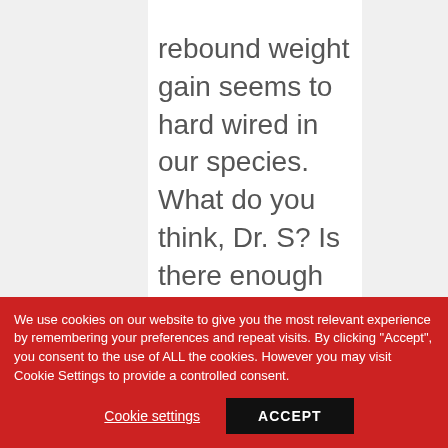rebound weight gain seems to hard wired in our species. What do you think, Dr. S? Is there enough evidence among this small
We use cookies on our website to give you the most relevant experience by remembering your preferences and repeat visits. By clicking "Accept", you consent to the use of ALL the cookies. However you may visit Cookie Settings to provide a controlled consent.